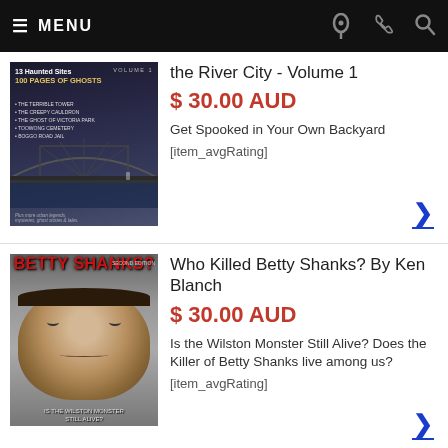≡ MENU
[Figure (photo): Book cover: 13 Haunted Sites - 100 Pages of Ghosts, Volume 1, showing a bridge over a dark river at night]
the River City - Volume 1
$ 30.00 AUD
Get Spooked in Your Own Backyard
[item_avgRating]
[Figure (photo): Book cover: Who Killed Betty Shanks? By Ken Blanch (Second Edition), showing a black and white photo of Betty Shanks' face with red title text]
Who Killed Betty Shanks? By Ken Blanch
$ 30.00 AUD
Is the Wilston Monster Still Alive? Does the Killer of Betty Shanks live among us?
[item_avgRating]